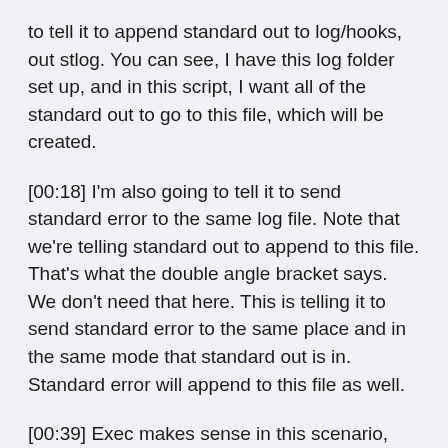to tell it to append standard out to log/hooks, out stlog. You can see, I have this log folder set up, and in this script, I want all of the standard out to go to this file, which will be created.
[00:18] I'm also going to tell it to send standard error to the same log file. Note that we're telling standard out to append to this file. That's what the double angle bracket says. We don't need that here. This is telling it to send standard error to the same place and in the same mode that standard out is in. Standard error will append to this file as well.
[00:39] Exec makes sense in this scenario, because the script won't be executed directly by our user. It'll be executed by Git. If we're using a